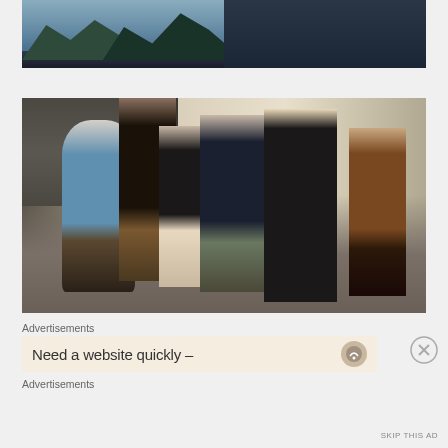[Figure (photo): Partial photo showing top portion: water/fjord scene with dark mountains on the left side and a person in dark clothing on the right side, cropped at the top of the page.]
[Figure (photo): Group photo of 6 people posing together inside what appears to be a warehouse or industrial space. A blonde woman with a cap is taking a photo of the group from the right. The group includes an older man in a blue shirt, a younger man in a floral shirt with arm around him, a woman in black, and a man in a dark blue shirt. Another man in a brown jacket is partially visible on far right.]
Advertisements
Need a website quickly –
Advertisements
SKIP THIS AD